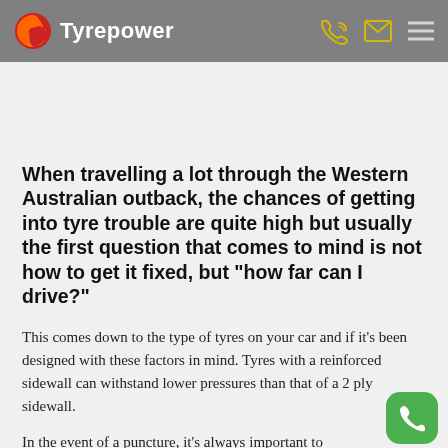Tyrepower
When travelling a lot through the Western Australian outback, the chances of getting into tyre trouble are quite high but usually the first question that comes to mind is not how to get it fixed, but “how far can I drive?”
This comes down to the type of tyres on your car and if it's been designed with these factors in mind. Tyres with a reinforced sidewall can withstand lower pressures than that of a 2 ply sidewall.
In the event of a puncture, it’s always important to